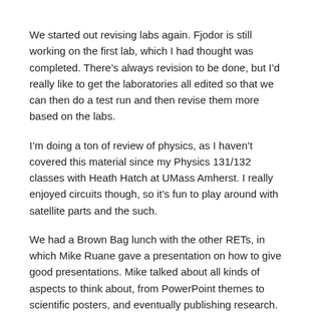We started out revising labs again.  Fjodor is still working on the first lab, which I had thought was completed.  There’s always revision to be done, but I’d really like to get the laboratories all edited so that we can then do a test run and then revise them more based on the labs.
I’m doing a ton of review of physics, as I haven’t covered this material since my Physics 131/132 classes with Heath Hatch at UMass Amherst.  I really enjoyed circuits though, so it’s fun to play around with satellite parts and the such.
We had a Brown Bag lunch with the other RETs, in which Mike Ruane gave a presentation on how to give good presentations.  Mike talked about all kinds of aspects to think about, from PowerPoint themes to scientific posters, and eventually publishing research.  I’ve thought about some of this before,  but there were some new aspects to me.
In the afternoon, we went back to editing labs, and then Mike came and visited us.  We talked more about our project, heard what the other groups were doing, and talked about timing.  We should be all set, and we’re busy this summer, but it’s not impossible.